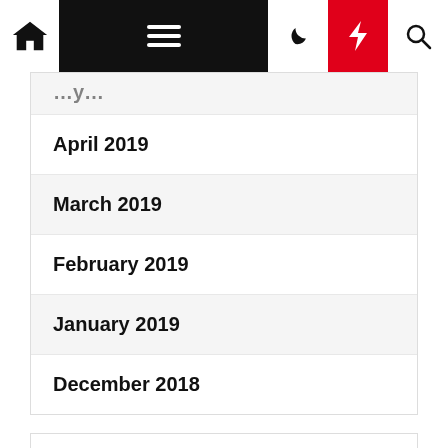Navigation bar with home, menu, moon, bolt, and search icons
April 2019
March 2019
February 2019
January 2019
December 2018
Categories
Decoration
Design